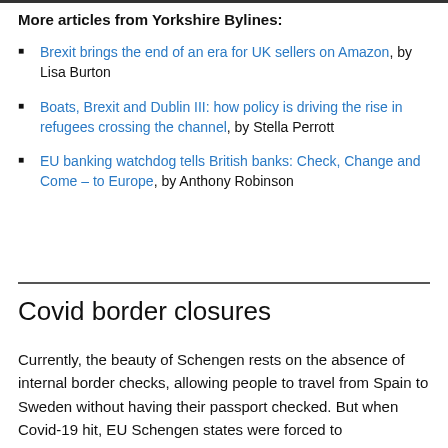More articles from Yorkshire Bylines:
Brexit brings the end of an era for UK sellers on Amazon, by Lisa Burton
Boats, Brexit and Dublin III: how policy is driving the rise in refugees crossing the channel, by Stella Perrott
EU banking watchdog tells British banks: Check, Change and Come – to Europe, by Anthony Robinson
Covid border closures
Currently, the beauty of Schengen rests on the absence of internal border checks, allowing people to travel from Spain to Sweden without having their passport checked. But when Covid-19 hit, EU Schengen states were forced to